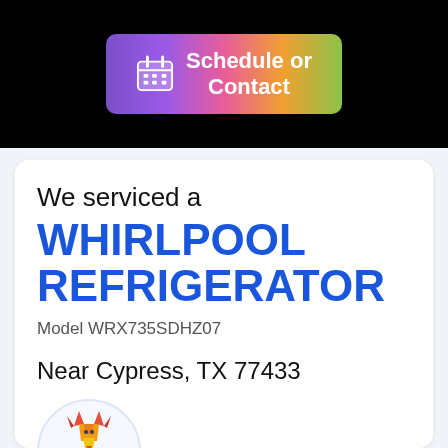[Figure (screenshot): Schedule or Contact button with calendar icon, gradient background from purple to green]
We serviced a
WHIRLPOOL REFRIGERATOR
Model WRX735SDHZ07
Near Cypress, TX 77433
[Figure (logo): Colorful geometric deer logo in a circle]